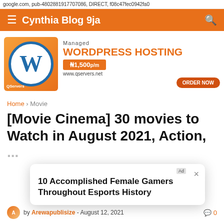google.com, pub-4802881917707086, DIRECT, f08c47fec0942fa0
Cynthia Blog 9ja
[Figure (illustration): Advertisement banner for QServers Managed WordPress Hosting at ₦1,500 p/m, with WordPress logo and ORDER NOW button]
Home › Movie
[Movie Cinema] 30 movies to Watch in August 2021, Action, ...
10 Accomplished Female Gamers Throughout Esports History
by Arewapublisize - August 12, 2021